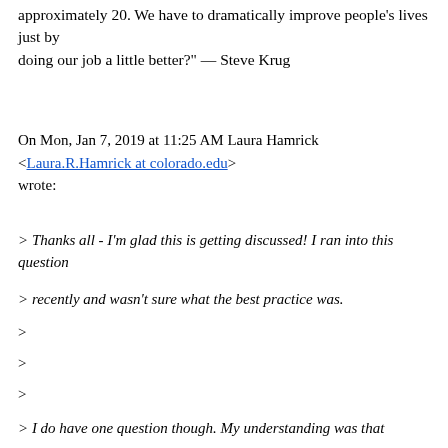approximately 20. We have to dramatically improve people's lives just by doing our job a little better?" — Steve Krug
On Mon, Jan 7, 2019 at 11:25 AM Laura Hamrick <Laura.R.Hamrick at colorado.edu> wrote:
> Thanks all - I'm glad this is getting discussed! I ran into this question
> recently and wasn't sure what the best practice was.
>
>
>
> I do have one question though. My understanding was that